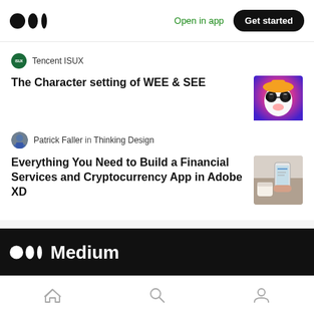Medium — Open in app | Get started
Tencent ISUX
The Character setting of WEE & SEE
[Figure (illustration): Colorful animated panda character with sunglasses]
Patrick Faller in Thinking Design
Everything You Need to Build a Financial Services and Cryptocurrency App in Adobe XD
[Figure (photo): Hand holding a phone with a financial app, coffee cup in background]
Medium logo footer with home, search, and profile tab icons